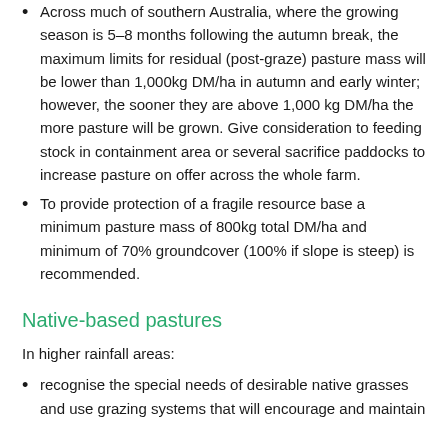Across much of southern Australia, where the growing season is 5–8 months following the autumn break, the maximum limits for residual (post-graze) pasture mass will be lower than 1,000kg DM/ha in autumn and early winter; however, the sooner they are above 1,000 kg DM/ha the more pasture will be grown. Give consideration to feeding stock in containment area or several sacrifice paddocks to increase pasture on offer across the whole farm.
To provide protection of a fragile resource base a minimum pasture mass of 800kg total DM/ha and minimum of 70% groundcover (100% if slope is steep) is recommended.
Native-based pastures
In higher rainfall areas:
recognise the special needs of desirable native grasses and use grazing systems that will encourage and maintain